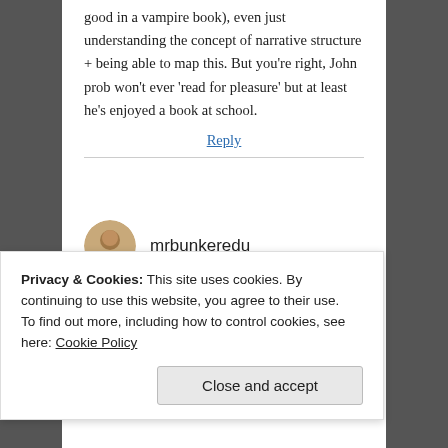good in a vampire book), even just understanding the concept of narrative structure + being able to map this. But you're right, John prob won't ever 'read for pleasure' but at least he's enjoyed a book at school.
Reply
mrbunkeredu
May 5, 2014 at 3:21 pm
Thanks for the comment Penny. I think there certainly are interesting questions to raise out
Privacy & Cookies: This site uses cookies. By continuing to use this website, you agree to their use.
To find out more, including how to control cookies, see here: Cookie Policy
Close and accept